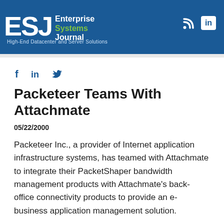ESJ Enterprise Systems Journal — High-End Datacenter and Server Solutions
[Figure (logo): ESJ Enterprise Systems Journal logo with social media icons (RSS and LinkedIn) in blue header bar]
Packeteer Teams With Attachmate
05/22/2000
Packeteer Inc., a provider of Internet application infrastructure systems, has teamed with Attachmate to integrate their PacketShaper bandwidth management products with Attachmate's back-office connectivity products to provide an e-business application management solution.